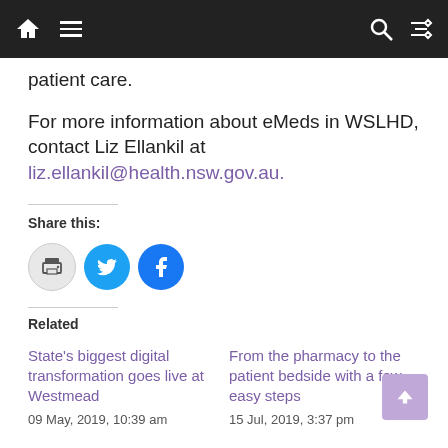Navigation bar with home, menu, search, and shuffle icons
patient care.
For more information about eMeds in WSLHD, contact Liz Ellankil at liz.ellankil@health.nsw.gov.au.
Share this:
[Figure (infographic): Three share buttons: print (grey), Twitter (blue), Facebook (blue)]
Related
State's biggest digital transformation goes live at Westmead
09 May, 2019, 10:39 am
From the pharmacy to the patient bedside with a few easy steps
15 Jul, 2019, 3:37 pm